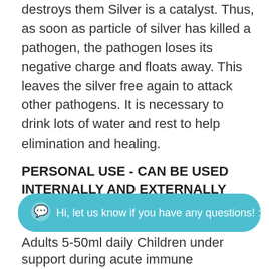destroys them Silver is a catalyst. Thus, as soon as particle of silver has killed a pathogen, the pathogen loses its negative charge and floats away. This leaves the silver free again to attack other pathogens. It is necessary to drink lots of water and rest to help elimination and healing.
PERSONAL USE - CAN BE USED INTERNALLY AND EXTERNALLY
General maintenance: Internally: Adults 5-50ml daily Children under
support during acute immune